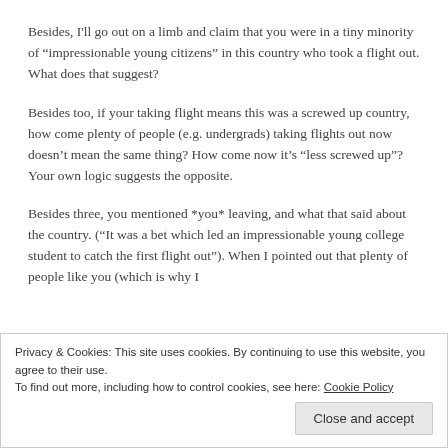Besides, I'll go out on a limb and claim that you were in a tiny minority of “impressionable young citizens” in this country who took a flight out. What does that suggest?
Besides too, if your taking flight means this was a screwed up country, how come plenty of people (e.g. undergrads) taking flights out now doesn’t mean the same thing? How come now it’s “less screwed up”? Your own logic suggests the opposite.
Besides three, you mentioned *you* leaving, and what that said about the country. (“It was a bet which led an impressionable young college student to catch the first flight out”). When I pointed out that plenty of people like you (which is why I
Privacy & Cookies: This site uses cookies. By continuing to use this website, you agree to their use.
To find out more, including how to control cookies, see here: Cookie Policy